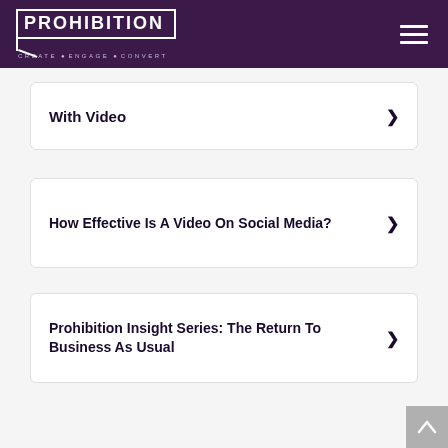PROHIBITION CREATE · ENGAGE · CONVERT
With Video
How Effective Is A Video On Social Media?
Prohibition Insight Series: The Return To Business As Usual